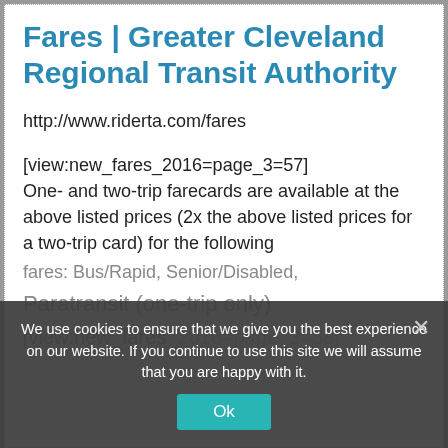Fares | Greater Cleveland Regional Transit Authority
http://www.riderta.com/fares
[view:new_fares_2016=page_3=57] One- and two-trip farecards are available at the above listed prices (2x the above listed prices for a two-trip card) for the following fares: Bus/Rapid, Senior/Disabled,
Paratransit (one-trip only)
[view:new_fares_2016=page_3=58]
We use cookies to ensure that we give you the best experience on our website. If you continue to use this site we will assume that you are happy with it.